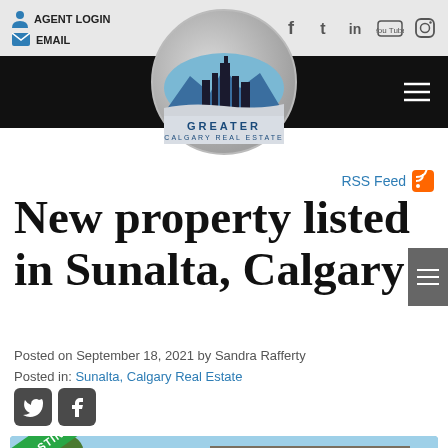AGENT LOGIN  EMAIL
[Figure (logo): Greater Calgary Real Estate circular logo with city skyline silhouette]
RSS Feed
New property listed in Sunalta, Calgary
Posted on September 18, 2021 by Sandra Rafferty
Posted in: Sunalta, Calgary Real Estate
[Figure (photo): Property listing photo showing roofline of a modern building against blue sky with a green diagonal listing banner]